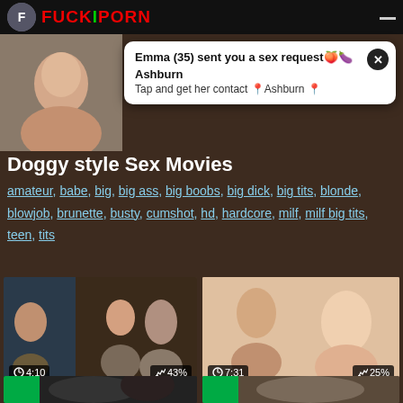FUCKIPORN
Emma (35) sent you a sex request🍑🍆 Ashburn Tap and get her contact 📍Ashburn 📍
[Figure (photo): Thumbnail photo of a young woman]
Doggy style Sex Movies
amateur, babe, big, big ass, big boobs, big dick, big tits, blonde, blowjob, brunette, busty, cumshot, hd, hardcore, milf, milf big tits, teen, tits
[Figure (photo): Video thumbnail: An Unconventional Love Pt. 4 - duration 4:10, rating 43%]
An Unconventional Love Pt. 4
Blowjob  Cumshot  ...
[Figure (photo): Video thumbnail: 21Naturals Angel Wicky An... - duration 7:31, rating 25%]
21Naturals Angel Wicky An...
21 Naturals  Czech  Anal  ...
[Figure (photo): Bottom strip partial thumbnail left]
[Figure (photo): Bottom strip partial thumbnail right]